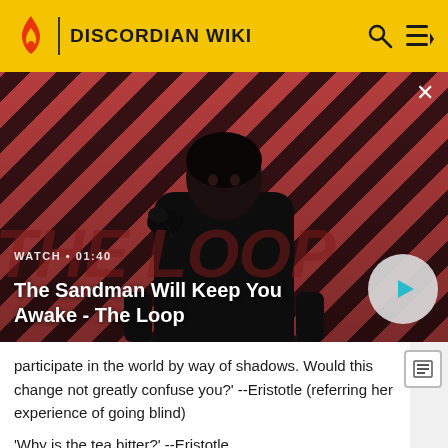DISCORDIAN WIKI
[Figure (screenshot): Video thumbnail showing a dark-cloaked figure with a raven on their shoulder against a red and black diagonal striped background. Shows 'WATCH • 01:40' label and title 'The Sandman Will Keep You Awake - The Loop' with a play button.]
participate in the world by way of shadows. Would this change not greatly confuse you?' --Eristotle (referring her experience of going blind)
'Why is the tea bitter?' --Eristotle